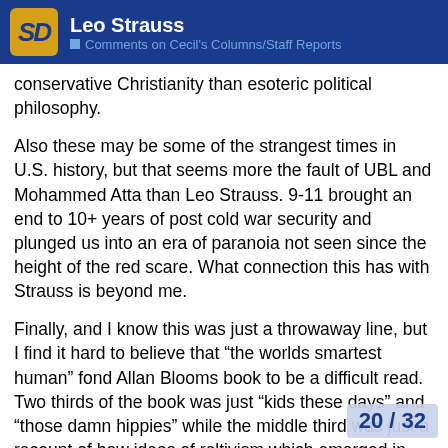Leo Strauss — Comments on Cecil's Columns/Staff Reports
conservative Christianity than esoteric political philosophy.
Also these may be some of the strangest times in U.S. history, but that seems more the fault of UBL and Mohammed Atta than Leo Strauss. 9-11 brought an end to 10+ years of post cold war security and plunged us into an era of paranoia not seen since the height of the red scare. What connection this has with Strauss is beyond me.
Finally, and I know this was just a throwaway line, but I find it hard to believe that “the worlds smartest human” fond Allan Blooms book to be a difficult read. Two thirds of the book was just “kids these days” and “those damn hippies” while the middle third was just a recount of how ideas of reltivism which emerged in the thought of Hiedigger and Nietzche have percolated down to the level of common middle brow discourse. Not really that much of a challenge. (One of my aforementioned professors told me Bloom had confided in him that TCOAM was just the result of Bloom suffering writers block on h... of Rousseau, and using the time to vent. h...
20 / 32